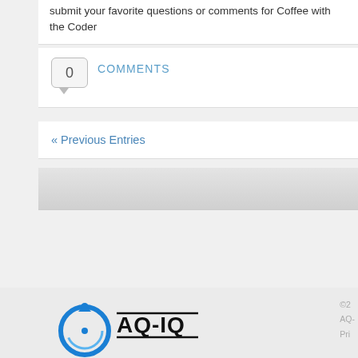submit your favorite questions or comments for Coffee with the Coder
0 Comments
« Previous Entries
[Figure (logo): AQ-IQ logo with blue circular arrow icon and bold AQ-IQ text with underline]
©2 AQ- Pri